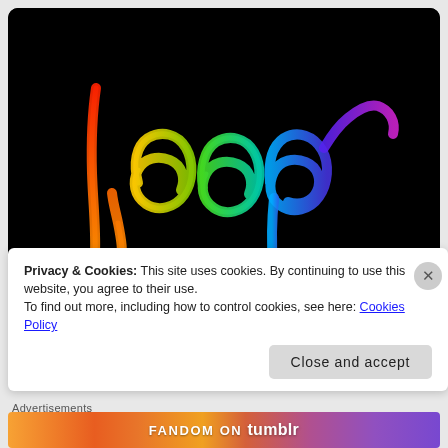[Figure (illustration): Rainbow neon light-painted word 'loop' on a black background, with colorful gradient strokes from red through orange, yellow, green, teal, blue, and purple forming cursive letters.]
Privacy & Cookies: This site uses cookies. By continuing to use this website, you agree to their use.
To find out more, including how to control cookies, see here: Cookies Policy
Close and accept
Advertisements
[Figure (logo): Fandom on Tumblr promotional banner with colorful gradient background (orange to purple) and 'FANDOM ON tumblr' text in bold white letters.]